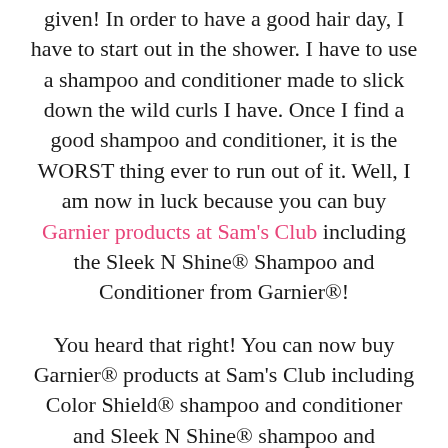given! In order to have a good hair day, I have to start out in the shower. I have to use a shampoo and conditioner made to slick down the wild curls I have. Once I find a good shampoo and conditioner, it is the WORST thing ever to run out of it. Well, I am now in luck because you can buy Garnier products at Sam's Club including the Sleek N Shine® Shampoo and Conditioner from Garnier®!
You heard that right! You can now buy Garnier® products at Sam's Club including Color Shield® shampoo and conditioner and Sleek N Shine® shampoo and conditioner so you don't have to worry about running out of your favorite Garnier® as often and you will be getting a great deal on